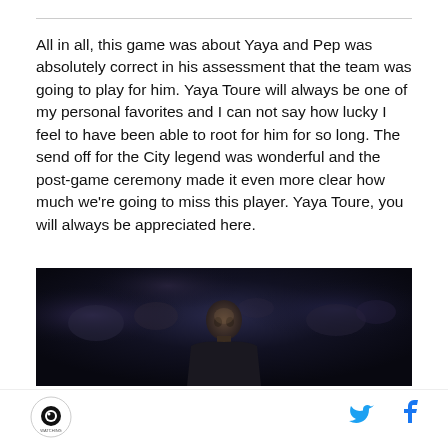All in all, this game was about Yaya and Pep was absolutely correct in his assessment that the team was going to play for him. Yaya Toure will always be one of my personal favorites and I can not say how lucky I feel to have been able to root for him for so long. The send off for the City legend was wonderful and the post-game ceremony made it even more clear how much we're going to miss this player. Yaya Toure, you will always be appreciated here.
[Figure (photo): Dark photo of a man (Yaya Toure) in a crowd setting, dark background with blurred crowd behind him]
Logo | Twitter icon | Facebook icon